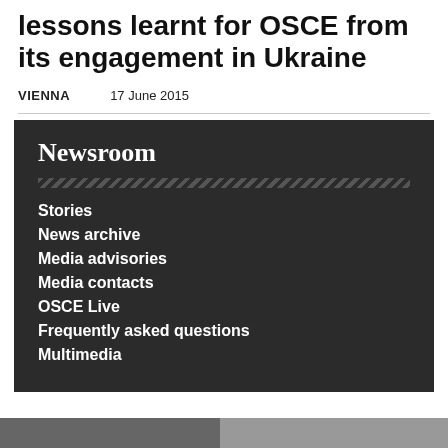lessons learnt for OSCE from its engagement in Ukraine
VIENNA    17 June 2015
Newsroom
Stories
News archive
Media advisories
Media contacts
OSCE Live
Frequently asked questions
Multimedia
[Figure (photo): Partial photo strip at bottom of page showing people]